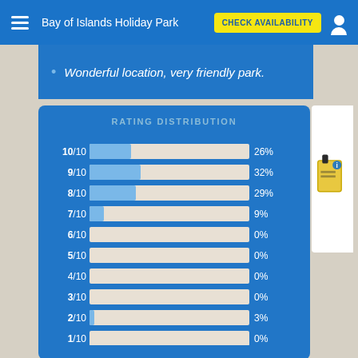Bay of Islands Holiday Park  CHECK AVAILABILITY
Wonderful location, very friendly park.
[Figure (bar-chart): RATING DISTRIBUTION]